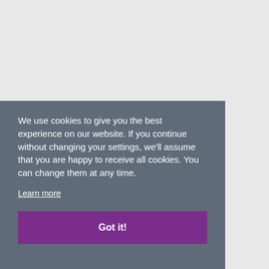We use cookies to give you the best experience on our website. If you continue without changing your settings, we'll assume that you are happy to receive all cookies. You can change them at any time.
Learn more
Got it!